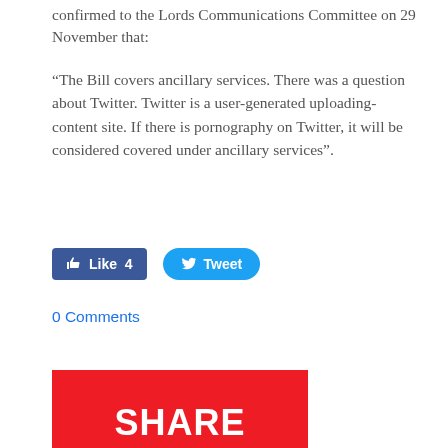confirmed to the Lords Communications Committee on 29 November that:
“The Bill covers ancillary services. There was a question about Twitter. Twitter is a user-generated uploading-content site. If there is pornography on Twitter, it will be considered covered under ancillary services”.
[Figure (infographic): Facebook Like button showing count 4 and Twitter Tweet button]
0 Comments
[Figure (illustration): Red banner image with white bold text reading SHARE YOUR VOICE HERE]